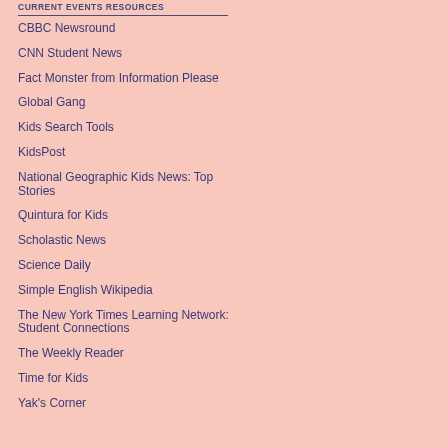CURRENT EVENTS RESOURCES
CBBC Newsround
CNN Student News
Fact Monster from Information Please
Global Gang
Kids Search Tools
KidsPost
National Geographic Kids News: Top Stories
Quintura for Kids
Scholastic News
Science Daily
Simple English Wikipedia
The New York Times Learning Network: Student Connections
The Weekly Reader
Time for Kids
Yak's Corner